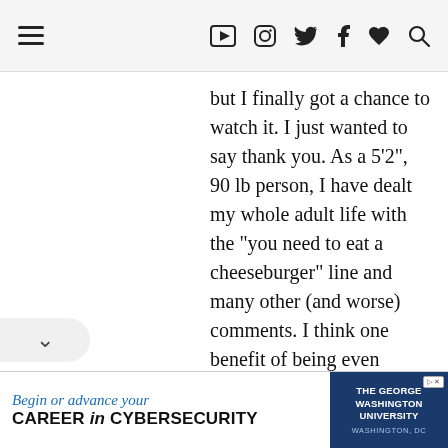≡ ▶ 📷 🐦 f ♥ 🔍
but I finally got a chance to watch it. I just wanted to say thank you. As a 5'2", 90 lb person, I have dealt my whole adult life with the "you need to eat a cheeseburger" line and many other (and worse) comments. I think one benefit of being even shorter is that the thinness looks more proportional! But of course, I know it brings all of its own
[Figure (screenshot): Advertisement banner for The George Washington University cybersecurity program. Left side white background with blue italic text 'Begin or advance your' and bold black text 'CAREER in CYBERSECURITY'. Right side dark navy background with white bold text 'THE GEORGE WASHINGTON UNIVERSITY' and light text 'WASHINGTON, DC'.]